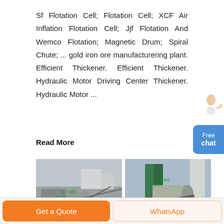Sf Flotation Cell; Flotation Cell; XCF Air Inflation Flotation Cell; Jjf Flotation And Wemco Flotation; Magnetic Drum; Spiral Chute; ... gold iron ore manufacturering plant. Efficient Thickener. Efficient Thickener. Hydraulic Motor Driving Center Thickener. Hydraulic Motor ...
Read More
[Figure (photo): Aerial view of an industrial mineral processing plant with concrete structures and equipment]
[Figure (photo): Industrial machinery with green metal structure and large cylindrical drum at a processing plant]
Get a Quote
WhatsApp